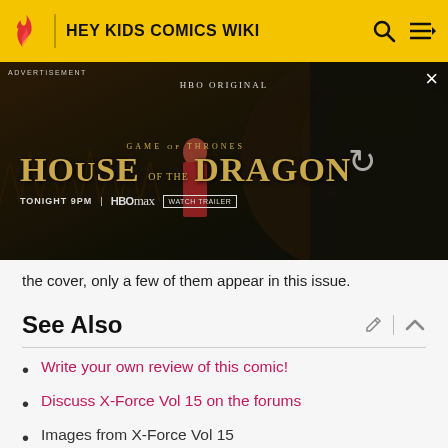HEY KIDS COMICS WIKI
[Figure (screenshot): HBO Max advertisement for House of the Dragon (Game of Thrones). Shows a character in red dress standing among dragon imagery. Text: ADVERTISEMENT, HBO ORIGINAL, GAME OF THRONES, HOUSE OF THE DRAGON, TONIGHT 9PM, HBO MAX, WATCH TRAILER. Close button (X) top right, refresh icon center right.]
the cover, only a few of them appear in this issue.
See Also
Write your own review of this comic!
Discuss X-Force Vol 15 on the forums
Images from X-Force Vol 15